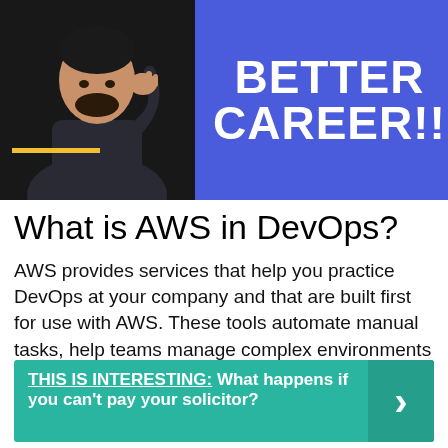[Figure (photo): Banner image with a man thinking on the left (dark background) and blue background on the right with bold white text reading 'BETTER CAREER!!']
What is AWS in DevOps?
AWS provides services that help you practice DevOps at your company and that are built first for use with AWS. These tools automate manual tasks, help teams manage complex environments at scale, and keep engineers in control of the high velocity that is enabled by DevOps.
THIS IS INTERESTING:  What happens if you can't pay your solicitor?